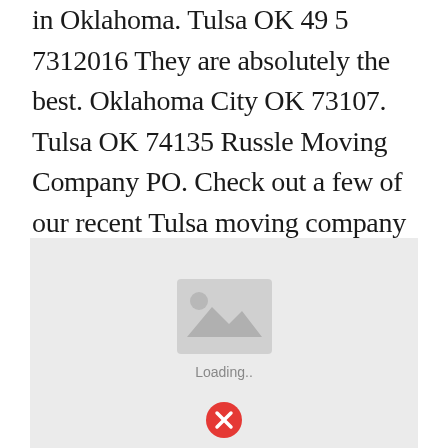in Oklahoma. Tulsa OK 49 5 7312016 They are absolutely the best. Oklahoma City OK 73107. Tulsa OK 74135 Russle Moving Company PO. Check out a few of our recent Tulsa moving company reviews.
[Figure (other): A loading placeholder image with a grey background, a grey image icon in the center, 'Loading..' text below it, and a red error/close icon at the bottom center.]